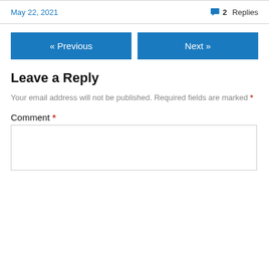May 22, 2021
2 Replies
« Previous
Next »
Leave a Reply
Your email address will not be published. Required fields are marked *
Comment *